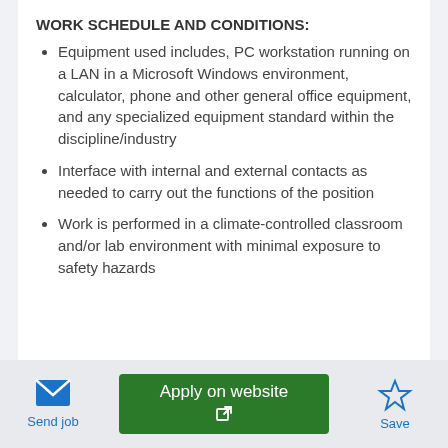WORK SCHEDULE AND CONDITIONS:
Equipment used includes, PC workstation running on a LAN in a Microsoft Windows environment, calculator, phone and other general office equipment, and any specialized equipment standard within the discipline/industry
Interface with internal and external contacts as needed to carry out the functions of the position
Work is performed in a climate-controlled classroom and/or lab environment with minimal exposure to safety hazards
Send job
Apply on website
Save